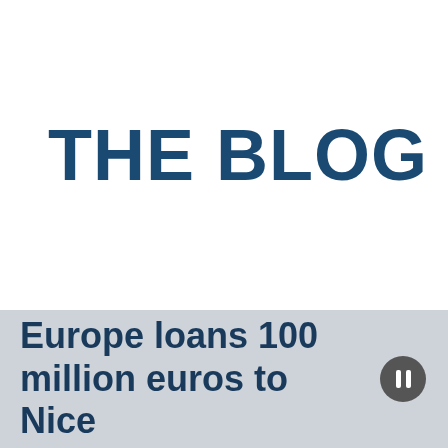THE BLOG
Europe loans 100 million euros to Nice